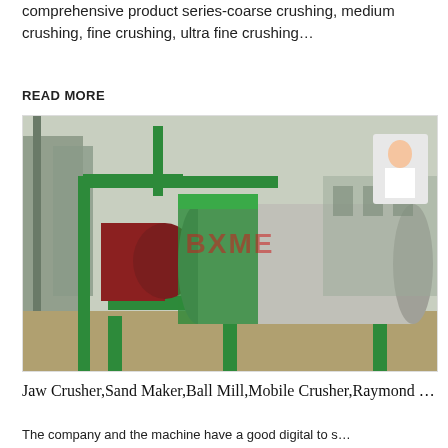comprehensive product series-coarse crushing, medium crushing, fine crushing, ultra fine crushing…
READ MORE
[Figure (photo): Industrial rotary drum or ball mill machine mounted on a green metal frame at an outdoor industrial site. The large cylindrical drum is silver/grey, supported by green painted steel structure. Various pipes and equipment visible. Red watermark text 'BXME' overlaid on image. A small inset of a woman customer service rep in top right corner.]
Free chat
Jaw Crusher,Sand Maker,Ball Mill,Mobile Crusher,Raymond …
The company and the machine have a good digital to s…